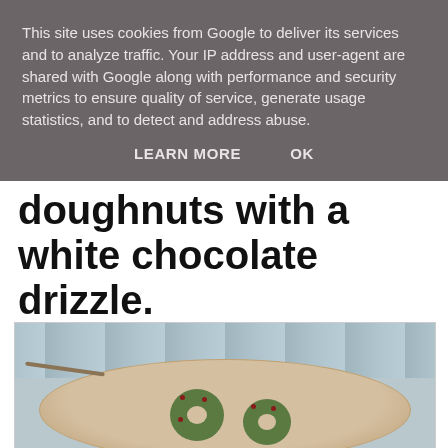This site uses cookies from Google to deliver its services and to analyze traffic. Your IP address and user-agent are shared with Google along with performance and security metrics to ensure quality of service, generate usage statistics, and to detect and address abuse.
LEARN MORE   OK
doughnuts with a white chocolate drizzle.
[Figure (photo): Photo of green matcha doughnuts with berry toppings on a wooden slice board, with light blue wood plank background]